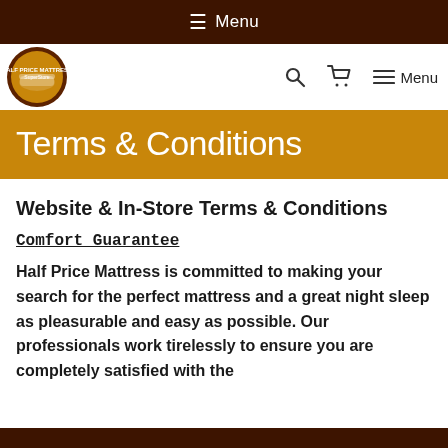≡ Menu
[Figure (logo): Half Price Mattress SuperStore logo — circular brown and gold emblem with mattress graphic and text]
Terms & Conditions
Website & In-Store Terms & Conditions
Comfort Guarantee
Half Price Mattress is committed to making your search for the perfect mattress and a great night sleep as pleasurable and easy as possible. Our professionals work tirelessly to ensure you are completely satisfied with the